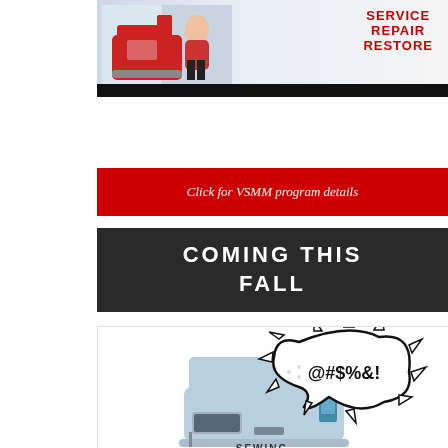[Figure (photo): Photo of a person working on a sewing machine with red text reading SERVICE REPAIR RESTORE on the right side, with a dark black bar at the bottom]
[Figure (infographic): Red banner with white italic text: Click for VSMM program details]
COMING THIS FALL
[Figure (illustration): Cartoon illustration of a sewing machine with a comic-style speech bubble containing @#$%&! text, with the word SEWING visible at the bottom]